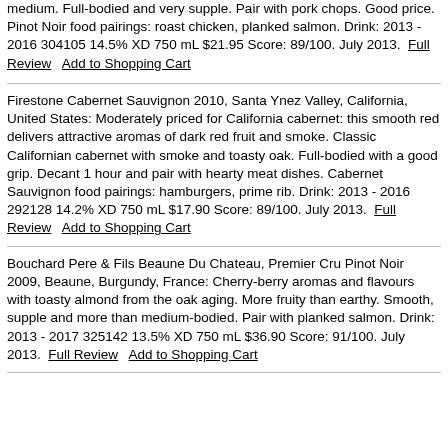medium. Full-bodied and very supple. Pair with pork chops. Good price. Pinot Noir food pairings: roast chicken, planked salmon. Drink: 2013 - 2016 304105 14.5% XD 750 mL $21.95 Score: 89/100. July 2013. Full Review   Add to Shopping Cart
Firestone Cabernet Sauvignon 2010, Santa Ynez Valley, California, United States: Moderately priced for California cabernet: this smooth red delivers attractive aromas of dark red fruit and smoke. Classic Californian cabernet with smoke and toasty oak. Full-bodied with a good grip. Decant 1 hour and pair with hearty meat dishes. Cabernet Sauvignon food pairings: hamburgers, prime rib. Drink: 2013 - 2016 292128 14.2% XD 750 mL $17.90 Score: 89/100. July 2013. Full Review   Add to Shopping Cart
Bouchard Pere & Fils Beaune Du Chateau, Premier Cru Pinot Noir 2009, Beaune, Burgundy, France: Cherry-berry aromas and flavours with toasty almond from the oak aging. More fruity than earthy. Smooth, supple and more than medium-bodied. Pair with planked salmon. Drink: 2013 - 2017 325142 13.5% XD 750 mL $36.90 Score: 91/100. July 2013. Full Review   Add to Shopping Cart